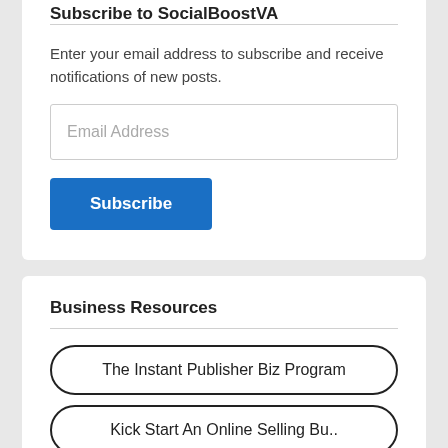Subscribe to SocialBoostVA
Enter your email address to subscribe and receive notifications of new posts.
Email Address
Subscribe
Business Resources
The Instant Publisher Biz Program
Kick Start An Online Selling Bu..